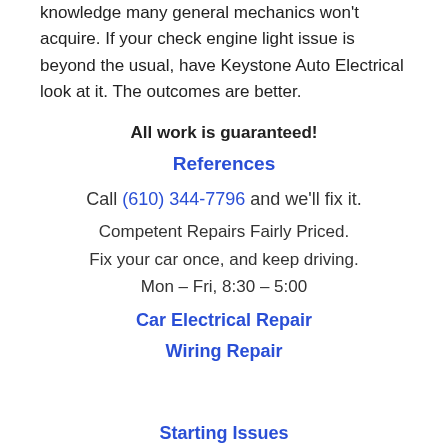knowledge many general mechanics won't acquire. If your check engine light issue is beyond the usual, have Keystone Auto Electrical look at it. The outcomes are better.
All work is guaranteed!
References
Call (610) 344-7796 and we'll fix it.
Competent Repairs Fairly Priced.
Fix your car once, and keep driving.
Mon – Fri, 8:30 – 5:00
Car Electrical Repair
Wiring Repair
Starting Issues